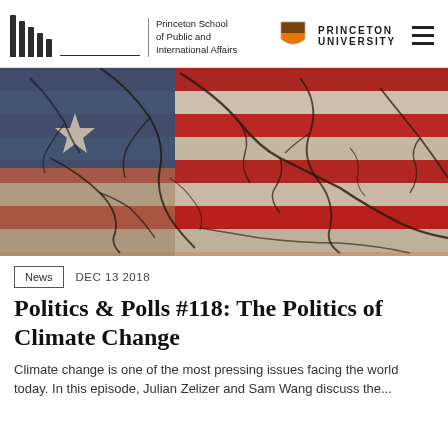Princeton School of Public and International Affairs | Princeton University
[Figure (photo): US flag with cracked dry earth texture overlaid, showing red and white stripes with blue canton and white star, dramatic cracking patterns across the surface suggesting drought or climate stress]
News   DEC 13 2018
Politics & Polls #118: The Politics of Climate Change
Climate change is one of the most pressing issues facing the world today. In this episode, Julian Zelizer and Sam Wang discuss the...